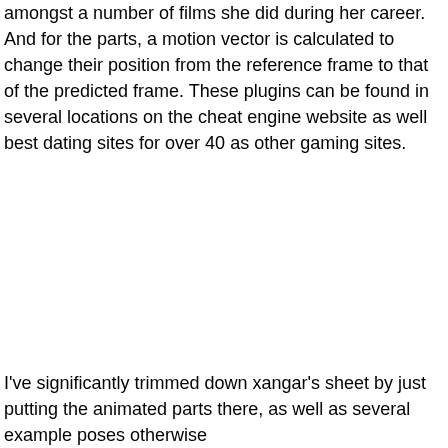amongst a number of films she did during her career. And for the parts, a motion vector is calculated to change their position from the reference frame to that of the predicted frame. These plugins can be found in several locations on the cheat engine website as well best dating sites for over 40 as other gaming sites.
I've significantly trimmed down xangar's sheet by just putting the animated parts there, as well as several example poses otherwise